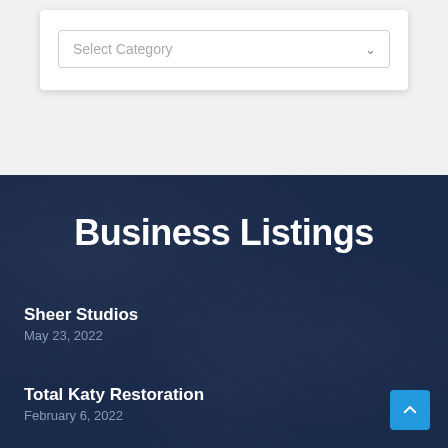[Figure (screenshot): A dropdown form element with label 'Select Category' and a chevron arrow, inside a white card on a light gray background.]
Business Listings
Sheer Studios
May 23, 2022
Total Katy Restoration
February 6, 2022